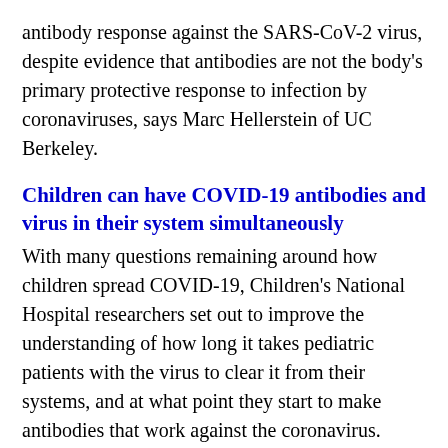antibody response against the SARS-CoV-2 virus, despite evidence that antibodies are not the body's primary protective response to infection by coronaviruses, says Marc Hellerstein of UC Berkeley.
Children can have COVID-19 antibodies and virus in their system simultaneously
With many questions remaining around how children spread COVID-19, Children's National Hospital researchers set out to improve the understanding of how long it takes pediatric patients with the virus to clear it from their systems, and at what point they start to make antibodies that work against the coronavirus.
The behavior of therapeutic antibodies in immunotherapy
Since the late 1990s, immunotherapy has been the frontline treatment against lymphomas where synthetic antibodies are